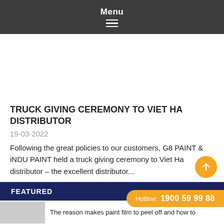Menu
[Figure (photo): White/blank image area (article hero image not loaded)]
TRUCK GIVING CEREMONY TO VIET HA DISTRIBUTOR
19-03-2022
Following the great policies to our customers, G8 PAINT & iNDU PAINT held a truck giving ceremony to Viet Ha distributor – the excellent distributor...
Xem thêm
FEATURED
The reason makes paint film to peel off and how to
Hotline: 1900 59 99 88